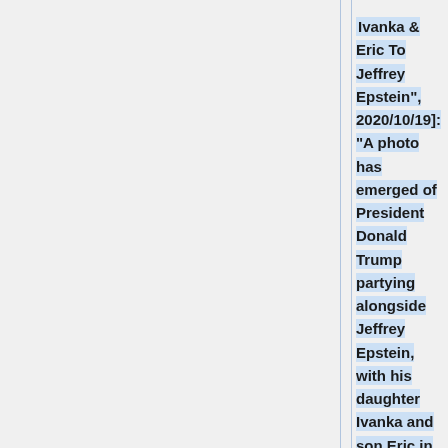Ivanka & Eric To Jeffrey Epstein", 2020/10/19]: "A photo has emerged of President Donald Trump partying alongside Jeffrey Epstein, with his daughter Ivanka and son Eric in tow. The never-before-seen image is included in Barry Levine's new book "The Spider: Inside the Criminal Web of Jeffrey